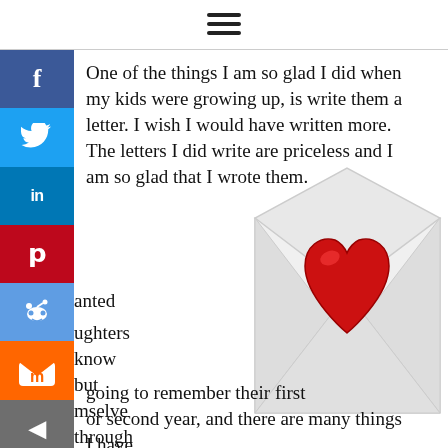☰
One of the things I am so glad I did when my kids were growing up, is write them a letter. I wish I would have written more. The letters I did write are priceless and I am so glad that I wrote them.
[Figure (illustration): An open white envelope with a shiny red heart emoji coming out of it]
anted

ughters
know
but
mselve
through
y eyes.
hey
en't
going to
remember
their first
or second year, and there are many things I have